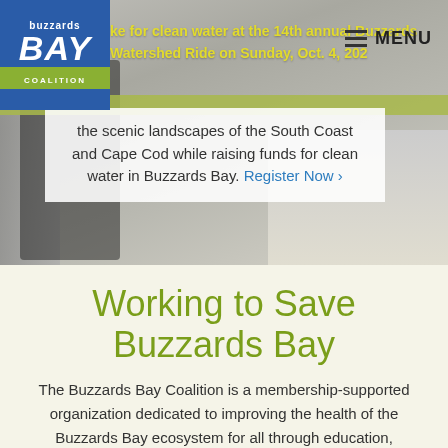Buzzards Bay Coalition — MENU
[Figure (photo): Hero image of a bicycle near a dock/waterfront, partially obscured, with a white overlay text box and green stripe banner]
the scenic landscapes of the South Coast and Cape Cod while raising funds for clean water in Buzzards Bay. Register Now ›
Working to Save Buzzards Bay
The Buzzards Bay Coalition is a membership-supported organization dedicated to improving the health of the Buzzards Bay ecosystem for all through education, conservation, research, and advocacy.